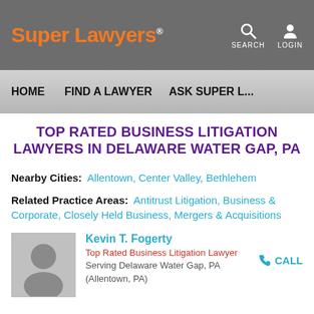Super Lawyers | SEARCH | LOGIN
HOME | FIND A LAWYER | ASK SUPER L...
TOP RATED BUSINESS LITIGATION LAWYERS IN DELAWARE WATER GAP, PA
Nearby Cities: Allentown, Center Valley, Bethlehem
Related Practice Areas: Antitrust Litigation, Business & Corporate, Closely Held Business, Mergers & Acquisitions
[Figure (photo): Silhouette placeholder photo of Kevin T. Fogerty]
Kevin T. Fogerty
Top Rated Business Litigation Lawyer
Serving Delaware Water Gap, PA
(Allentown, PA)